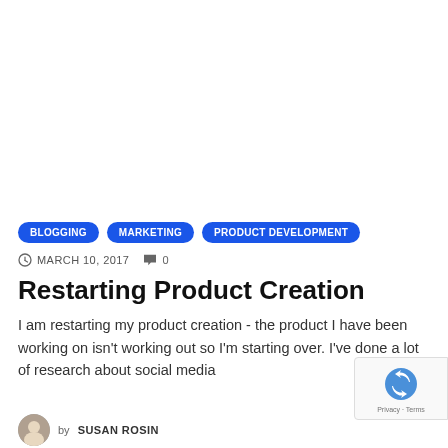BLOGGING
MARKETING
PRODUCT DEVELOPMENT
MARCH 10, 2017  0
Restarting Product Creation
I am restarting my product creation - the product I have been working on isn't working out so I'm starting over. I've done a lot of research about social media
by SUSAN ROSIN